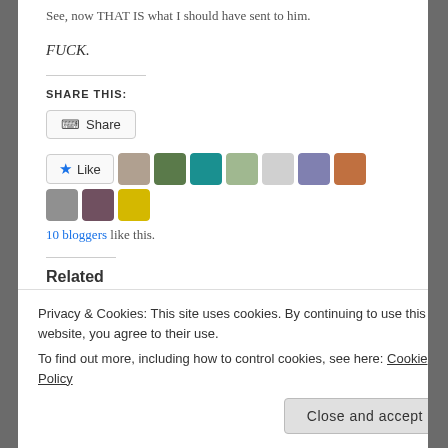See, now THAT IS what I should have sent to him.
FUCK.
SHARE THIS:
Share (button)
Like — 10 bloggers like this.
Related
Privacy & Cookies: This site uses cookies. By continuing to use this website, you agree to their use. To find out more, including how to control cookies, see here: Cookie Policy
Close and accept
WordPress.
Almost 50– Choose My